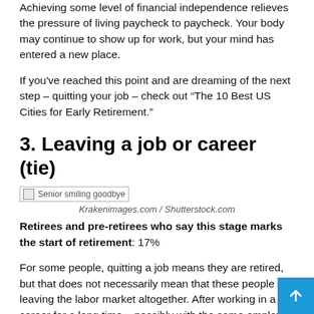Achieving some level of financial independence relieves the pressure of living paycheck to paycheck. Your body may continue to show up for work, but your mind has entered a new place.
If you've reached this point and are dreaming of the next step – quitting your job – check out “The 10 Best US Cities for Early Retirement.”
3. Leaving a job or career (tie)
[Figure (photo): Senior smiling goodbye — image placeholder with text label]
Krakenimages.com / Shutterstock.com
Retirees and pre-retirees who say this stage marks the start of retirement: 17%
For some people, quitting a job means they are retired, but that does not necessarily mean that these people are leaving the labor market altogether. After working in a career for a long time – possibly with the same employer for years or even